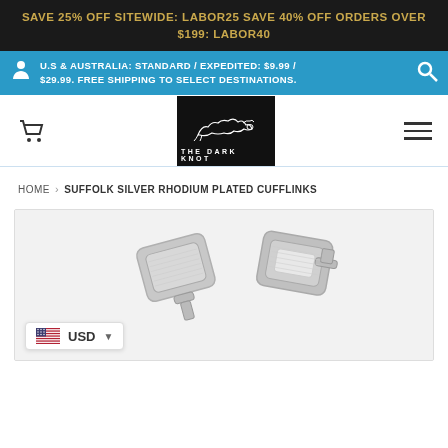SAVE 25% OFF SITEWIDE: LABOR25 SAVE 40% OFF ORDERS OVER $199: LABOR40
U.S & AUSTRALIA: STANDARD / EXPEDITED: $9.99 / $29.99. FREE SHIPPING TO SELECT DESTINATIONS.
[Figure (logo): The Dark Knot logo — black box with panther illustration and 'THE DARK KNOT' text below]
HOME › SUFFOLK SILVER RHODIUM PLATED CUFFLINKS
[Figure (photo): Close-up photo of Suffolk Silver Rhodium Plated Cufflinks — two silver square cufflinks shown at an angle with brushed metal finish and toggle clasps]
USD